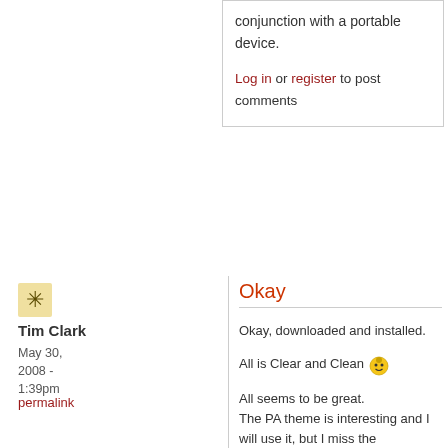conjunction with a portable device.
Log in or register to post comments
[Figure (other): User avatar icon — decorative asterisk/snowflake pixel icon]
Tim Clark
May 30, 2008 - 1:39pm
permalink
Okay
Okay, downloaded and installed.

All is Clear and Clean [smiley emoji]

All seems to be great.
The PA theme is interesting and I will use it, but I miss the Ancient/Parchment one [angry smiley emoji]

Tim
Things have got to get better, they can't get worse, or can they?